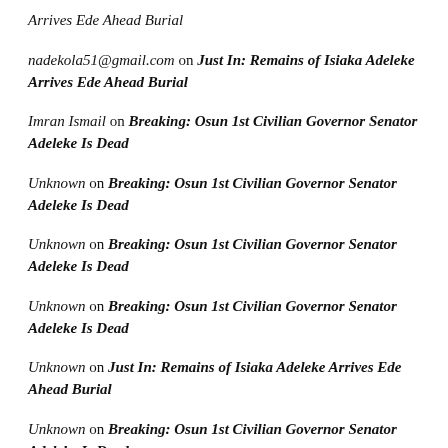Arrives Ede Ahead Burial
nadekola51@gmail.com on Just In: Remains of Isiaka Adeleke Arrives Ede Ahead Burial
Imran Ismail on Breaking: Osun 1st Civilian Governor Senator Adeleke Is Dead
Unknown on Breaking: Osun 1st Civilian Governor Senator Adeleke Is Dead
Unknown on Breaking: Osun 1st Civilian Governor Senator Adeleke Is Dead
Unknown on Breaking: Osun 1st Civilian Governor Senator Adeleke Is Dead
Unknown on Just In: Remains of Isiaka Adeleke Arrives Ede Ahead Burial
Unknown on Breaking: Osun 1st Civilian Governor Senator Adeleke Is Dead
Unknown on Why Governor Bello Wants Me Dead– Dino Melaye